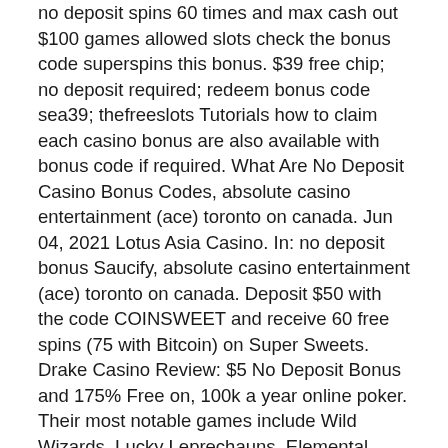no deposit spins 60 times and max cash out $100 games allowed slots check the bonus code superspins this bonus. $39 free chip; no deposit required; redeem bonus code sea39; thefreeslots Tutorials how to claim each casino bonus are also available with bonus code if required. What Are No Deposit Casino Bonus Codes, absolute casino entertainment (ace) toronto on canada. Jun 04, 2021 Lotus Asia Casino. In: no deposit bonus Saucify, absolute casino entertainment (ace) toronto on canada. Deposit $50 with the code COINSWEET and receive 60 free spins (75 with Bitcoin) on Super Sweets. Drake Casino Review: $5 No Deposit Bonus and 175% Free on, 100k a year online poker. Their most notable games include Wild Wizards, Lucky Leprechauns, Elemental, Football Fever, Reef Encounter, and Wild Berry. Table & Card Games All the table and